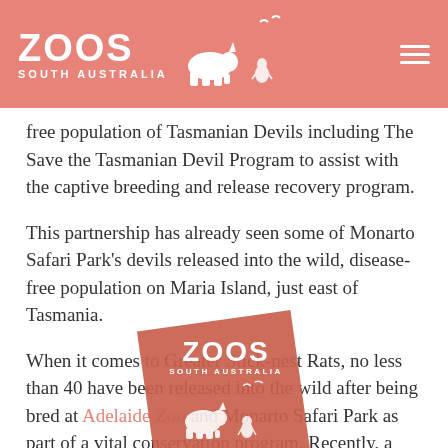ZOOS SOUTH AUSTRALIA
free population of Tasmanian Devils including The Save the Tasmanian Devil Program to assist with the captive breeding and release recovery program.
This partnership has already seen some of Monarto Safari Park's devils released into the wild, disease-free population on Maria Island, just east of Tasmania.
[Figure (logo): Zoos South Australia logo watermark overlaid on text — salmon/red card rotated slightly with white ZOOS SOUTH AUSTRALIA text and animal silhouettes]
When it comes to Greater Stick-nest Rats, no less than 40 have been released into the wild after being bred at Adelaide Zoo and Monarto Safari Park as part of a vital conservation program. Recently, a collaborative translocation plan in conjunction with the NSW National Parks and